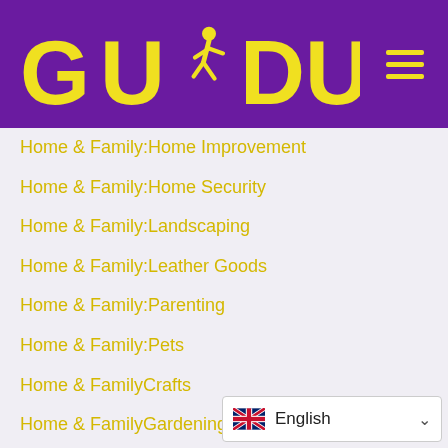[Figure (logo): GUDU logo with yellow text and runner figure on purple background, with hamburger menu icon]
Home & Family:Home Improvement
Home & Family:Home Security
Home & Family:Landscaping
Home & Family:Leather Goods
Home & Family:Parenting
Home & Family:Pets
Home & FamilyCrafts
Home & FamilyGardening
Home & FamilyHobbies
Home & FamilyHolidays
Home & FamilyHome Improvement
Home & FamilyHome Security
Home & FamilyLandscaping
[Figure (infographic): Language selector showing UK flag and 'English' with dropdown chevron]